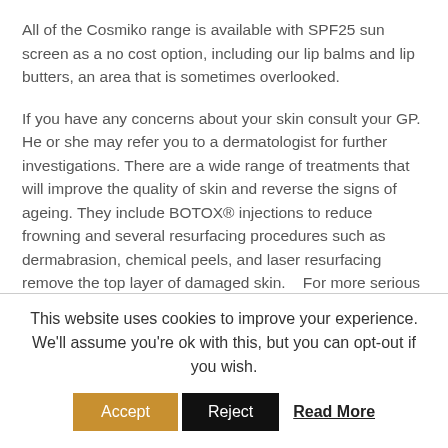All of the Cosmiko range is available with SPF25 sun screen as a no cost option, including our lip balms and lip butters, an area that is sometimes overlooked.
If you have any concerns about your skin consult your GP. He or she may refer you to a dermatologist for further investigations. There are a wide range of treatments that will improve the quality of skin and reverse the signs of ageing. They include BOTOX® injections to reduce frowning and several resurfacing procedures such as dermabrasion, chemical peels, and laser resurfacing remove the top layer of damaged skin.   For more serious damage cosmetic surgery may be the best option, again your doctor should be the first person you speak to about the options to consider.
This website uses cookies to improve your experience. We'll assume you're ok with this, but you can opt-out if you wish.